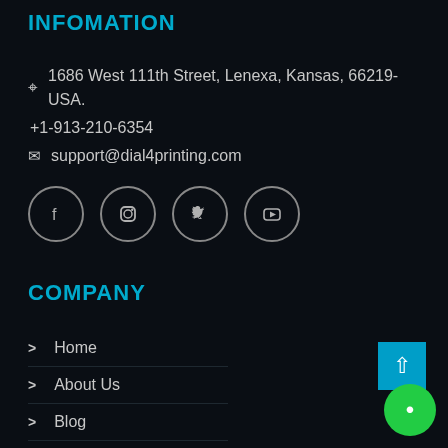INFOMATION
1686 West 111th Street, Lenexa, Kansas, 66219-USA.
+1-913-210-6354
support@dial4printing.com
[Figure (infographic): Four circular social media icons: Facebook, Instagram, Twitter, YouTube]
COMPANY
Home
About Us
Blog
Why US
Contact Us